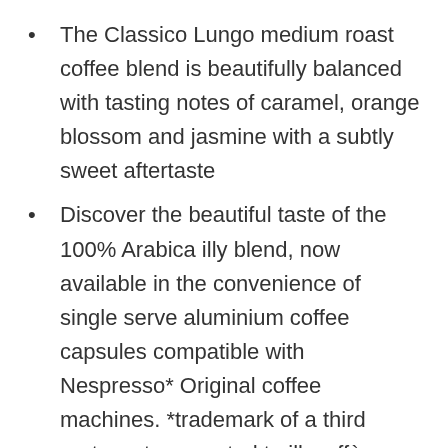The Classico Lungo medium roast coffee blend is beautifully balanced with tasting notes of caramel, orange blossom and jasmine with a subtly sweet aftertaste
Discover the beautiful taste of the 100% Arabica illy blend, now available in the convenience of single serve aluminium coffee capsules compatible with Nespresso* Original coffee machines. *trademark of a third party, not connected to illycaffè